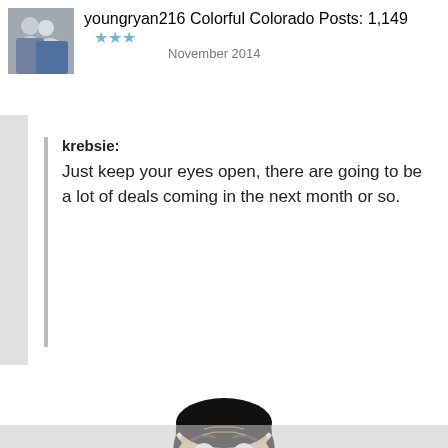youngryan216  Colorful Colorado  Posts: 1,149  ★★★  November 2014
krebsie:
Just keep your eyes open, there are going to be a lot of deals coming in the next month or so.
[Figure (illustration): Black and white cartoon/meme illustration of Mr. Bean (Rowan Atkinson) with a sly smirk, wearing a suit and tie. The image has a Photobucket watermark overlay in the center.]